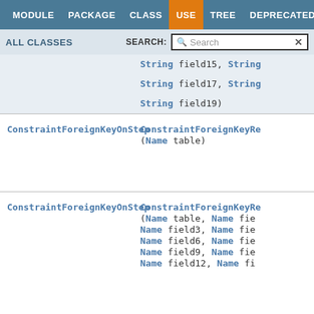MODULE  PACKAGE  CLASS  USE  TREE  DEPRECATED  INDEX
ALL CLASSES   SEARCH:  [Search]
| Type | Method |
| --- | --- |
| String field15, String... | String field17, String... String field19) |
| ConstraintForeignKeyOnStep | ConstraintForeignKeyRe... (Name table) |
| ConstraintForeignKeyOnStep | ConstraintForeignKeyRe... (Name table, Name fie... Name field3, Name fie... Name field6, Name fie... Name field9, Name fie... Name field12, Name fi... |